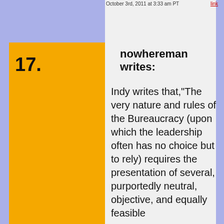October 3rd, 2011 at 3:33 am PT
17. nowhereman writes:
Indy writes that,"The very nature and rules of the Bureaucracy (upon which the leadership often has no choice but to rely) requires the presentation of several, purportedly neutral, objective, and equally feasible options for their…